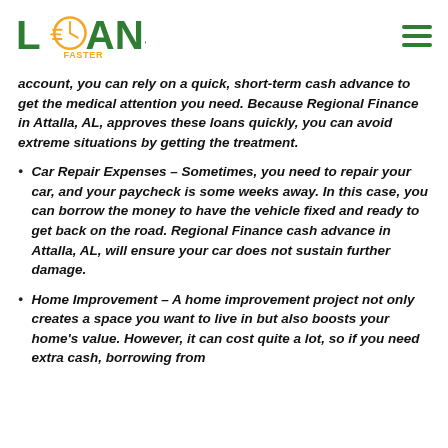Loans Faster [logo]
account, you can rely on a quick, short-term cash advance to get the medical attention you need. Because Regional Finance in Attalla, AL, approves these loans quickly, you can avoid extreme situations by getting the treatment.
Car Repair Expenses – Sometimes, you need to repair your car, and your paycheck is some weeks away. In this case, you can borrow the money to have the vehicle fixed and ready to get back on the road. Regional Finance cash advance in Attalla, AL, will ensure your car does not sustain further damage.
Home Improvement – A home improvement project not only creates a space you want to live in but also boosts your home's value. However, it can cost quite a lot, so if you need extra cash, borrowing from